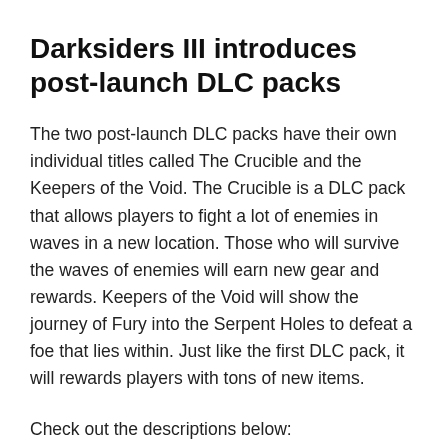Darksiders III introduces post-launch DLC packs
The two post-launch DLC packs have their own individual titles called The Crucible and the Keepers of the Void. The Crucible is a DLC pack that allows players to fight a lot of enemies in waves in a new location. Those who will survive the waves of enemies will earn new gear and rewards. Keepers of the Void will show the journey of Fury into the Serpent Holes to defeat a foe that lies within. Just like the first DLC pack, it will rewards players with tons of new items.
Check out the descriptions below: